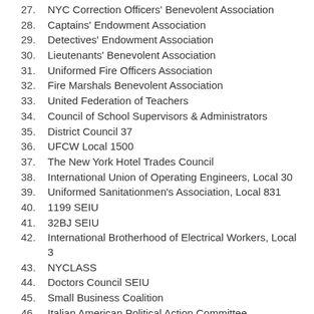27. NYC Correction Officers' Benevolent Association
28. Captains' Endowment Association
29. Detectives' Endowment Association
30. Lieutenants' Benevolent Association
31. Uniformed Fire Officers Association
32. Fire Marshals Benevolent Association
33. United Federation of Teachers
34. Council of School Supervisors & Administrators
35. District Council 37
36. UFCW Local 1500
37. The New York Hotel Trades Council
38. International Union of Operating Engineers, Local 30
39. Uniformed Sanitationmen's Association, Local 831
40. 1199 SEIU
41. 32BJ SEIU
42. International Brotherhood of Electrical Workers, Local 3
43. NYCLASS
44. Doctors Council SEIU
45. Small Business Coalition
46. Italian American Political Action Committee
47. Melinda Katz, Democratic Nominee for Queens Borough President
48. Kevin Kim, Former Nominee for the 19th Council District